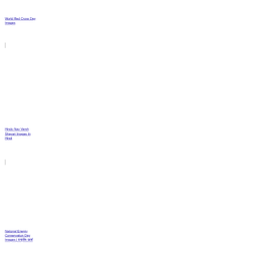World Red Cross Day Images
Hindu Nav Varsh Shayari Images In Hindi
National Energy Conservation Day Images | राष्ट्रीय ऊर्जा